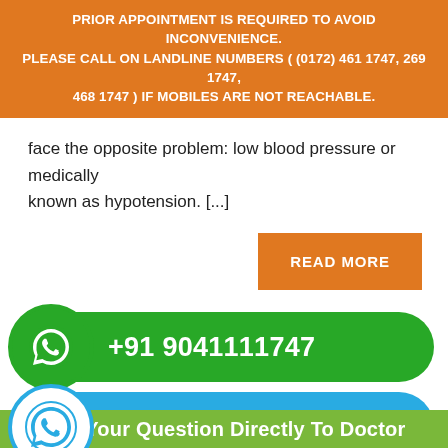PRIOR APPOINTMENT IS REQUIRED TO AVOID INCONVENIENCE. PLEASE CALL ON LANDLINE NUMBERS ( (0172) 461 1747, 269 1747, 468 1747 ) IF MOBILES ARE NOT REACHABLE.
face the opposite problem: low blood pressure or medically known as hypotension. [...]
[Figure (infographic): Orange 'READ MORE' button]
[Figure (infographic): Green WhatsApp button with phone number +91 9041111747]
[Figure (infographic): Blue WhatsApp button with phone number +91 7087462000]
[Figure (infographic): Red phone icon circle, partially visible at bottom]
Ask Your Question Directly To Doctor